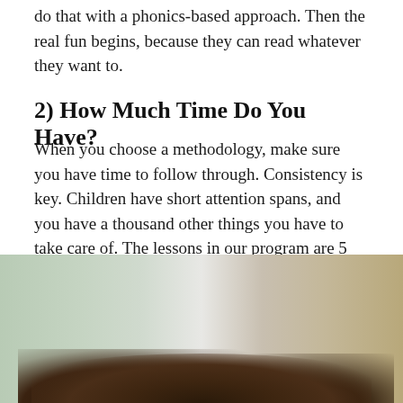do that with a phonics-based approach. Then the real fun begins, because they can read whatever they want to.
2) How Much Time Do You Have?
When you choose a methodology, make sure you have time to follow through. Consistency is key. Children have short attention spans, and you have a thousand other things you have to take care of. The lessons in our program are 5 minutes or less, so busy parents can commit to a regular schedule throughout the week.
[Figure (photo): A photo showing a child with curly dark hair, partially visible at the bottom of the page, with a blurred indoor background featuring a window and curtains.]